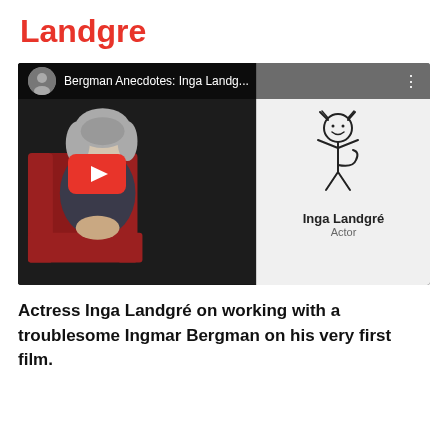Landgre
[Figure (screenshot): YouTube video thumbnail showing elderly woman seated in red chair with grey hair, video title 'Bergman Anecdotes: Inga Landg...' with a right-panel showing a stick figure drawing and text 'Inga Landgré Actor']
Actress Inga Landgré on working with a troublesome Ingmar Bergman on his very first film.